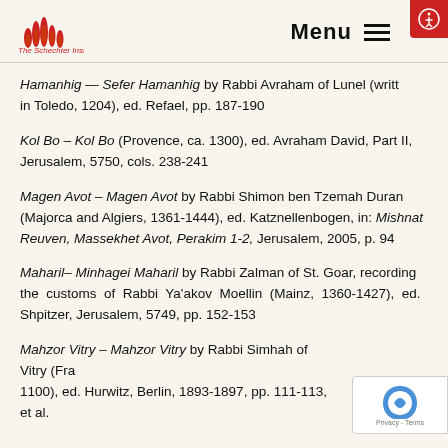The Schechter Institutes, Inc. — Menu
Hamanhig — Sefer Hamanhig by Rabbi Avraham of Lunel (written in Toledo, 1204), ed. Refael, pp. 187-190
Kol Bo – Kol Bo (Provence, ca. 1300), ed. Avraham David, Part II, Jerusalem, 5750, cols. 238-241
Magen Avot – Magen Avot by Rabbi Shimon ben Tzemah Duran (Majorca and Algiers, 1361-1444), ed. Katznellenbogen, in: Mishnat Reuven, Massekhet Avot, Perakim 1-2, Jerusalem, 2005, p. 94
Maharil– Minhagei Maharil by Rabbi Zalman of St. Goar, recording the customs of Rabbi Ya'akov Moellin (Mainz, 1360-1427), ed. Shpitzer, Jerusalem, 5749, pp. 152-153
Mahzor Vitry – Mahzor Vitry by Rabbi Simhah of Vitry (Fra... 1100), ed. Hurwitz, Berlin, 1893-1897, pp. 111-113, et al.